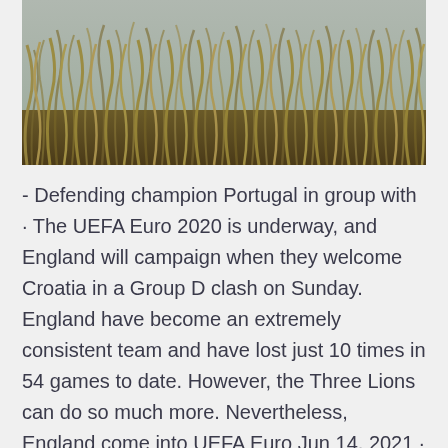[Figure (photo): Photograph of tall dry golden grass or reeds bending in the wind, with a grey sky visible in the background.]
- Defending champion Portugal in group with · The UEFA Euro 2020 is underway, and England will campaign when they welcome Croatia in a Group D clash on Sunday. England have become an extremely consistent team and have lost just 10 times in 54 games to date. However, the Three Lions can do so much more. Nevertheless, England come into UEFA Euro Jun 14, 2021 · Scotland (v Czech Republic) & Sweden (v Spain) both to win - Was 28/1 Now 33/1 3 or more goals in each of Monday's UEFA Euro 2020 matches (3 matches) - Was 11/1 Now 14/1 BoyleSports